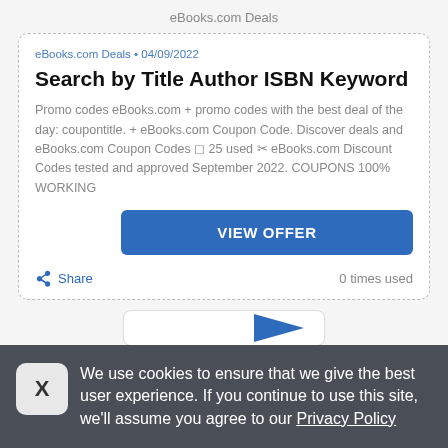eBooks.com Deals
eBooks.com Deals • 04/09/2022
Search by Title Author ISBN Keyword
Promo codes eBooks.com + promo codes with the best deal of the day: coupontitle. + eBooks.com Coupon Code. Discover deals and eBooks.com Coupon Codes ◻ 25 used ✂ eBooks.com Discount Codes tested and approved September 2022. COUPONS 100% WORKING
VIEW OFFER
Share   0 times used
We use cookies to ensure that we give the best user experience. If you continue to use this site, we'll assume you agree to our Privacy Policy